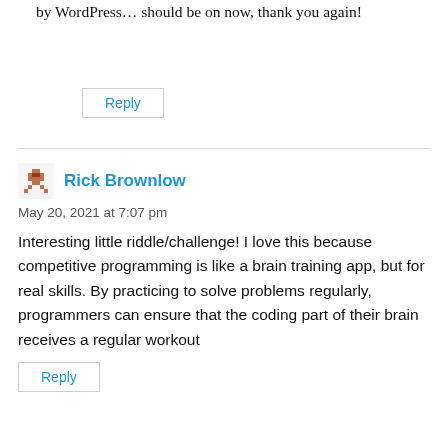by WordPress… should be on now, thank you again!
Reply
Rick Brownlow
May 20, 2021 at 7:07 pm
Interesting little riddle/challenge! I love this because competitive programming is like a brain training app, but for real skills. By practicing to solve problems regularly, programmers can ensure that the coding part of their brain receives a regular workout
Reply